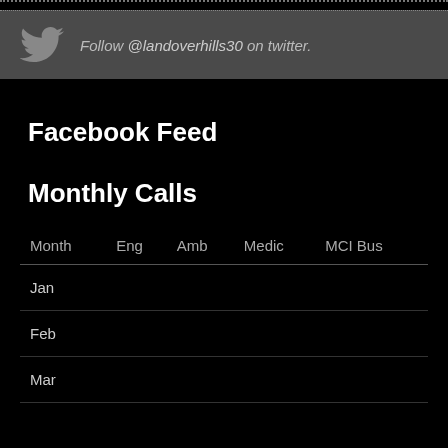[Figure (other): Twitter follow bar with bird logo and text: Follow @landoverhills30 on twitter.]
Facebook Feed
Monthly Calls
| Month | Eng | Amb | Medic | MCI Bus |
| --- | --- | --- | --- | --- |
| Jan |  |  |  |  |
| Feb |  |  |  |  |
| Mar |  |  |  |  |